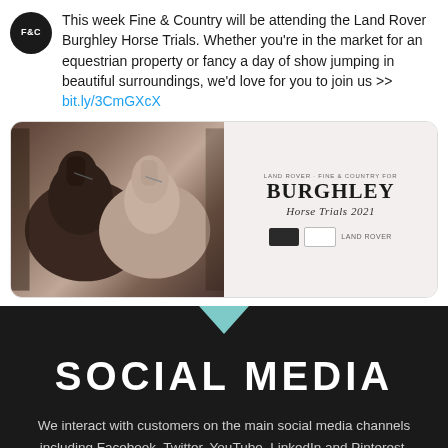This week Fine & Country will be attending the Land Rover Burghley Horse Trials. Whether you're in the market for an equestrian property or fancy a day of show jumping in beautiful surroundings, we'd love for you to join us >> bit.ly/3CmGXcX
[Figure (photo): Tweet card showing two horses side by side (dark and light colored) on the left, and Burghley Horse Trials 2021 event branding text and logos on the right, with a rounded border.]
SOCIAL MEDIA
We interact with customers on the main social media channels including Facebook, Twitter, YouTube, LinkedIn and Pinterest,